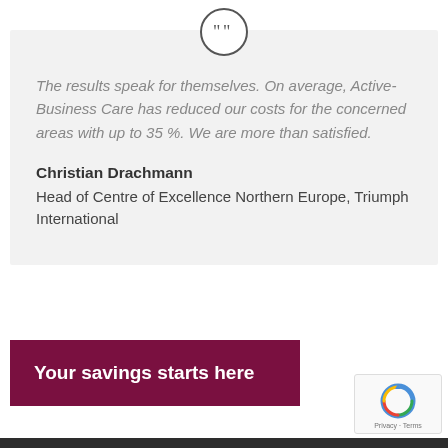The results speak for themselves. On average, Active-Business Care has reduced our costs for the concerned areas with up to 35 %. We are more than satisfied.
Christian Drachmann
Head of Centre of Excellence Northern Europe, Triumph International
Your savings starts here